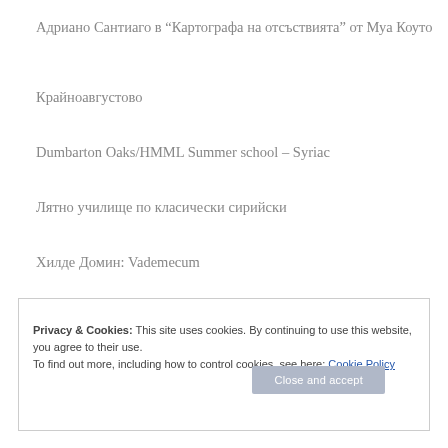Адриано Сантиаго в “Картографа на отсъствията” от Муа Коуто
Крайноавгустово
Dumbarton Oaks/HMML Summer school – Syriac
Лятно училище по класически сирийски
Хилде Домин: Vademecum
Privacy & Cookies: This site uses cookies. By continuing to use this website, you agree to their use.
To find out more, including how to control cookies, see here: Cookie Policy